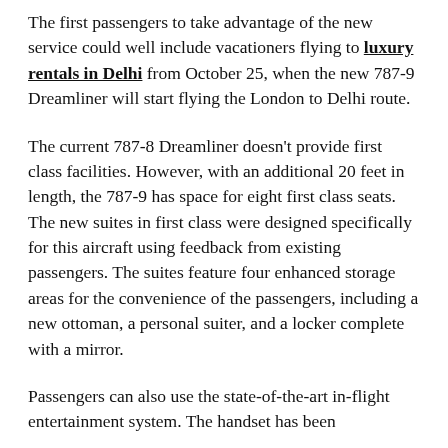The first passengers to take advantage of the new service could well include vacationers flying to luxury rentals in Delhi from October 25, when the new 787-9 Dreamliner will start flying the London to Delhi route.
The current 787-8 Dreamliner doesn't provide first class facilities. However, with an additional 20 feet in length, the 787-9 has space for eight first class seats. The new suites in first class were designed specifically for this aircraft using feedback from existing passengers. The suites feature four enhanced storage areas for the convenience of the passengers, including a new ottoman, a personal suiter, and a locker complete with a mirror.
Passengers can also use the state-of-the-art in-flight entertainment system. The handset has been